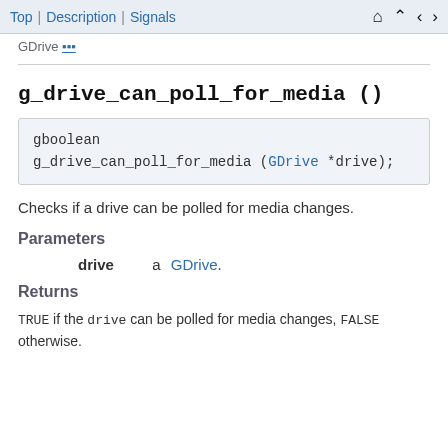Top | Description | Signals
GDrive [link, partially visible]
g_drive_can_poll_for_media ()
gboolean
g_drive_can_poll_for_media (GDrive *drive);
Checks if a drive can be polled for media changes.
Parameters
drive   a GDrive.
Returns
TRUE if the drive can be polled for media changes, FALSE otherwise.